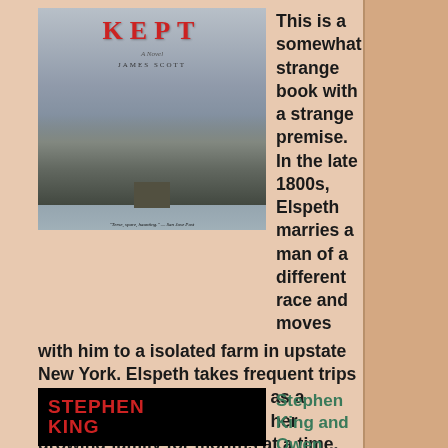[Figure (illustration): Book cover of 'KEPT' by James Scott — winter rural scene with farmhouse, dark trees, red title text on gray background]
This is a somewhat strange book with a strange premise. In the late 1800s, Elspeth marries a man of a different race and moves with him to a isolated farm in upstate New York. Elspeth takes frequent trips to the nearest town to work as a midwife, staying away from her growing family for months at a time. She returns from one of these trips t find all her children except for 12-year-old Caleb have been slaughtered. She and Caleb set out on a dark and treacherous journey to find the murderers and exact revenge. This author's writing style, as well as his use of violence and carnage as almost characters in themselves, reminded me of Cormack McCarthy. (****)
[Figure (illustration): Book cover of 'Sleeping Beauties' by Stephen King and Owen King — black background with red author names]
Stephen King and Owen King: Sleeping Beauties: